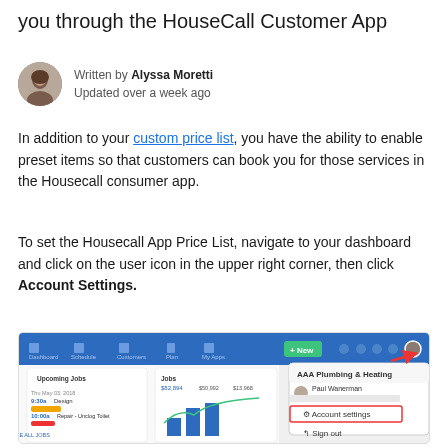you through the HouseCall Customer App
Written by Alyssa Moretti
Updated over a week ago
In addition to your custom price list, you have the ability to enable preset items so that customers can book you for those services in the Housecall consumer app.
To set the Housecall App Price List, navigate to your dashboard and click on the user icon in the upper right corner, then click Account Settings.
[Figure (screenshot): Screenshot of HouseCall dashboard showing navigation bar and a dropdown menu with 'Account settings' option highlighted in a red box, with a red arrow pointing to the user icon.]